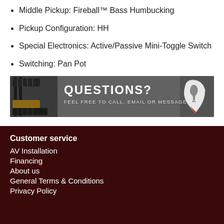Middle Pickup: Fireball™ Bass Humbucking
Pickup Configuration: HH
Special Electronics: Active/Passive Mini-Toggle Switch
Switching: Pan Pot
[Figure (illustration): Banner image with guitars on the left and a guitar pick logo on the right. Text reads 'QUESTIONS? FEEL FREE TO CALL, EMAIL OR MESSAGE US' on a dark grey background.]
Customer service
AV Installation
Financing
About us
General Terms & Conditions
Privacy Policy